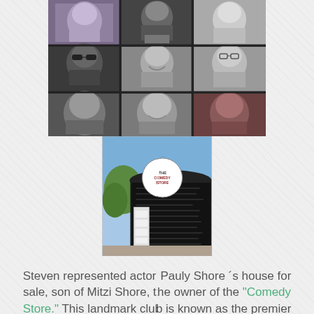[Figure (photo): A collage of black-and-white portrait photos of male celebrities/actors arranged in a 3x3 grid]
[Figure (photo): Color photo of The Comedy Store building exterior, showing its curved black facade and circular sign]
Steven represented actor Pauly Shore's house for sale, son of Mitzi Shore, the owner of the "Comedy Store." This landmark club is known as the premier showcase for live stand-up